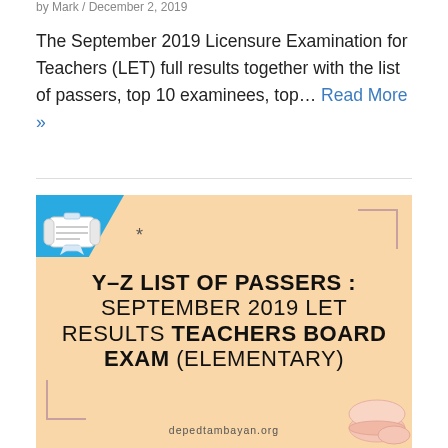by Mark / December 2, 2019
The September 2019 Licensure Examination for Teachers (LET) full results together with the list of passers, top 10 examinees, top… Read More »
[Figure (infographic): Y-Z LIST OF PASSERS : SEPTEMBER 2019 LET RESULTS TEACHERS BOARD EXAM (ELEMENTARY) infographic with peach/orange background, scrolls and decorative elements. depedtambayan.org]